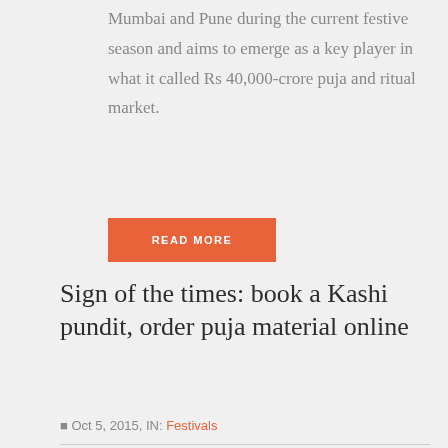Mumbai and Pune during the current festive season and aims to emerge as a key player in what it called Rs 40,000-crore puja and ritual market.
READ MORE
Sign of the times: book a Kashi pundit, order puja material online
Oct 5, 2015, IN: Festivals
Published by Catch News
They have catered to the appetite of Mumbai's working class for over a century. But now the storied Dabbawalas are under threat from a new competitor